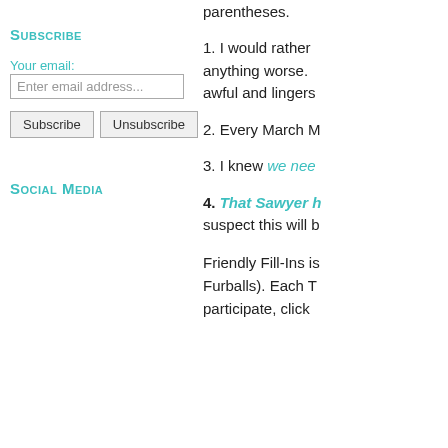Subscribe
Your email:
Enter email address...
Subscribe   Unsubscribe
Social Media
parentheses.
1. I would rather anything worse. awful and lingers
2. Every March M
3. I knew we nee
4. That Sawyer h suspect this will b
Friendly Fill-Ins is Furballs). Each T participate, click